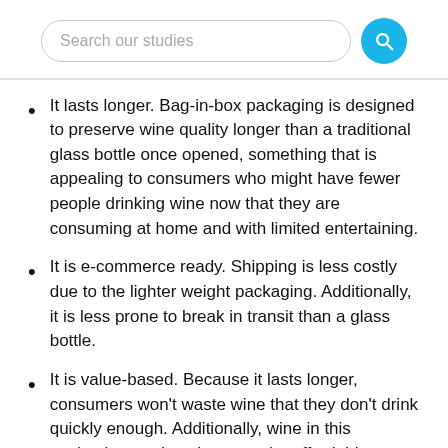Search our studies
It lasts longer. Bag-in-box packaging is designed to preserve wine quality longer than a traditional glass bottle once opened, something that is appealing to consumers who might have fewer people drinking wine now that they are consuming at home and with limited entertaining.
It is e-commerce ready. Shipping is less costly due to the lighter weight packaging. Additionally, it is less prone to break in transit than a glass bottle.
It is value-based. Because it lasts longer, consumers won't waste wine that they don't drink quickly enough. Additionally, wine in this packaging tends to be more the affordable, mass market types at this time.
As more consumers become open to the use of this packaging, there will likely be more wine varieties offered in bag-in-box format. When consumers are able to return to large gatherings, outdoor concerts, and other wine consumption events, they will also enjoy this format's convenience as glass packaging is not